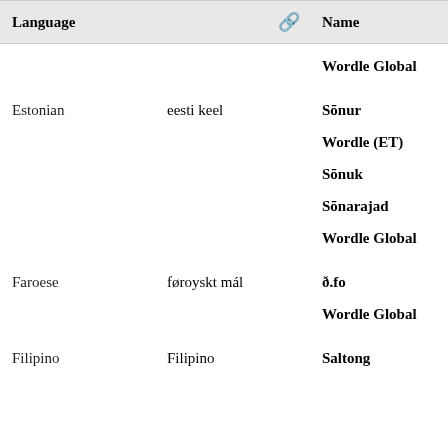| Language |  | Name |
| --- | --- | --- |
|  |  | Wordle Global |
| Estonian | eesti keel | Sõnur |
|  |  | Wordle (ET) |
|  |  | Sõnuk |
|  |  | Sõnarajad |
|  |  | Wordle Global |
| Faroese | føroyskt mál | ð.fo |
|  |  | Wordle Global |
| Filipino | Filipino | Saltong |